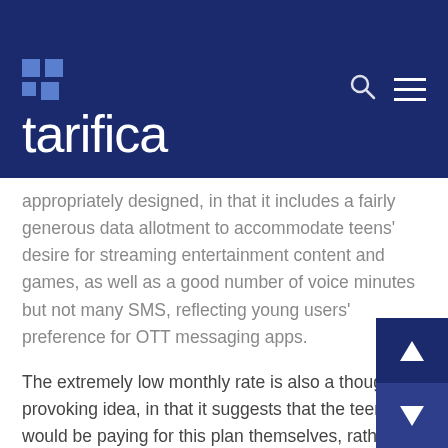tarifica
appropriately designed, in that it includes a fairly generous data allotment to accommodate teens' desire for streaming entertainment content and games, as well as a good number of voice minutes but not many SMS, reflecting young users' preference for OTT messaging apps.
The extremely low monthly rate is also a thought-provoking idea, in that it suggests that the teens would be paying for this plan themselves, rather than having their parents pay. What this means is that the operator clearly wants the teens to be making the brand choice so that they can be cultivated for future and